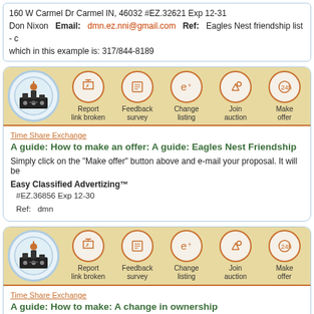160 W Carmel Dr Carmel IN, 46032 #EZ.32621 Exp 12-31
Don Nixon  Email: dmn.ez.nni@gmail.com  Ref: Eagles Nest friendship list - c
which in this example is: 317/844-8189
[Figure (other): Listing card with city logo and action buttons: Report link broken, Feedback survey, Change listing, Join auction, Make offer]
Time Share Exchange
A guide: How to make an offer: A guide: Eagles Nest Friendship
Simply click on the "Make offer" button above and e-mail your proposal. It will be
Easy Classified Advertizing™
#EZ.36856 Exp 12-30
Ref:   dmn
[Figure (other): Second listing card with city logo and action buttons: Report link broken, Feedback survey, Change listing, Join auction, Make offer]
Time Share Exchange
A guide: How to make: A change in ownership
Real estate Q&A: How can I help my children avoid probate after I'm gone?
By: Gary M. Singer, Sun Sentinel